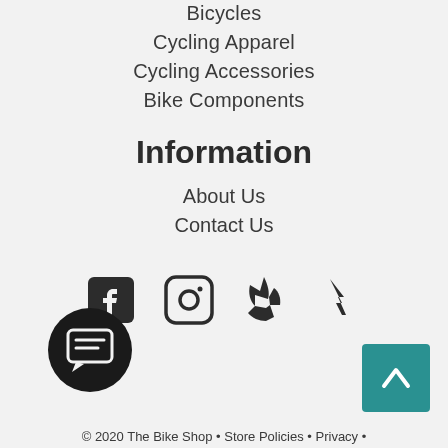Bicycles
Cycling Apparel
Cycling Accessories
Bike Components
Information
About Us
Contact Us
[Figure (infographic): Social media icons: Facebook, Instagram, Yelp, Strava]
[Figure (illustration): Black circular chat/message button icon]
[Figure (illustration): Teal back-to-top arrow button]
© 2020 The Bike Shop • Store Policies • Privacy •